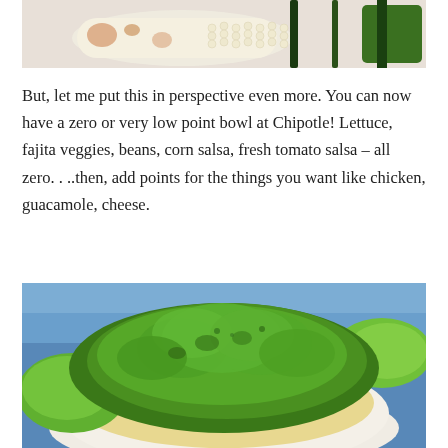[Figure (photo): Close-up photo of corn on the cob with spices, partially cut, showing white corn kernels and a dark skewer or chopstick]
But, let me put this in perspective even more.  You can now have a zero or very low point bowl at Chipotle!  Lettuce, fajita veggies, beans, corn salsa, fresh tomato salsa – all zero. . ..then, add points for the things you want like chicken, guacamole, cheese.
[Figure (photo): Photo of a Chipotle burrito bowl with a large mound of green guacamole on top, with lettuce, shredded cheese, corn, beans, and tomatoes visible underneath, in a white bowl on a blue surface]